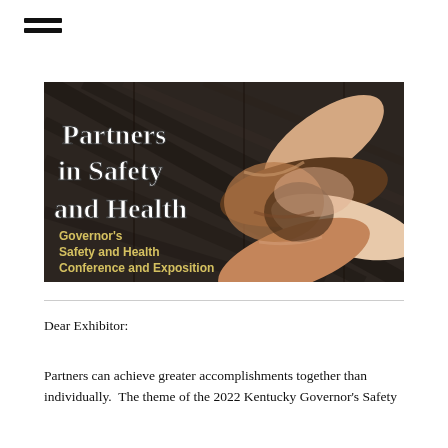[Figure (illustration): Banner image showing multiple hands of different skin tones clasped together over a dark wooden background. Bold white text reads 'Partners in Safety and Health'. Below in smaller yellow/gold text: 'Governor's Safety and Health Conference and Exposition'.]
Dear Exhibitor:
Partners can achieve greater accomplishments together than individually.  The theme of the 2022 Kentucky Governor's Safety